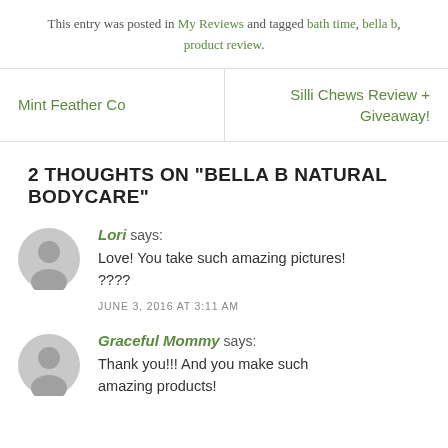This entry was posted in My Reviews and tagged bath time, bella b, product review.
| Mint Feather Co | Silli Chews Review + Giveaway! |
| --- | --- |
2 THOUGHTS ON “BELLA B NATURAL BODYCARE”
Lori says:
Love! You take such amazing pictures! ????
JUNE 3, 2016 AT 3:11 AM
Graceful Mommy says:
Thank you!!! And you make such amazing products!